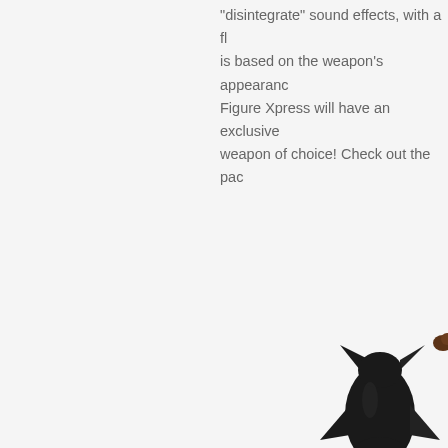"disintegrate" sound effects, with a fl is based on the weapon's appearand Figure Xpress will have an exclusive weapon of choice! Check out the pa
[Figure (photo): A dark black toy or figure resembling a stylized rocket or weapon with fins and decorative elements, photographed against a light background. The object appears to be a collectible or prop weapon replica.]